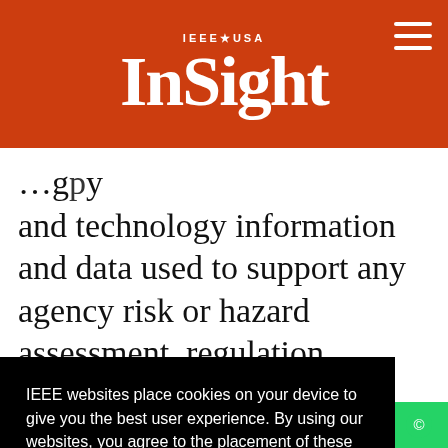IEEE USA InSight
and technology information and data used to support any agency risk or hazard assessment, regulation, impact
IEEE websites place cookies on your device to give you the best user experience. By using our websites, you agree to the placement of these cookies. To learn more, read our Privacy Policy.
Accept & Close
DHS
rea